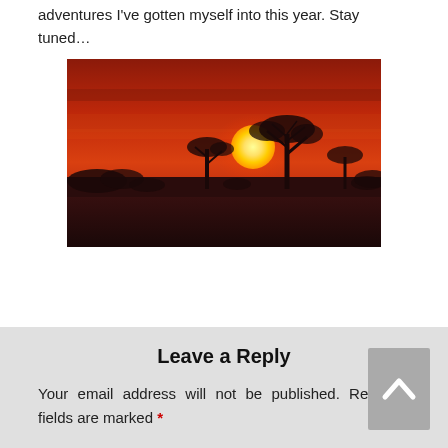adventures I've gotten myself into this year. Stay tuned…
[Figure (photo): A dramatic sunset over an African savanna landscape. A large yellow-orange sun is near the horizon against a vivid red and orange sky. Dark silhouettes of acacia trees and low bushes stretch across the middle ground, with flat grassland in the foreground.]
Leave a Reply
Your email address will not be published. Required fields are marked *